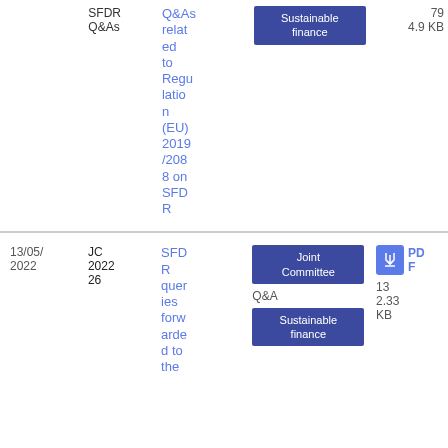| Date | Reference | Title | Tags | Type | Size |
| --- | --- | --- | --- | --- | --- |
|  | Joint Committee SFDR Q&As | Q&As related to Regulation (EU) 2019/2088 on SFDR | Joint Committee; Sustainable finance |  | 79
4.9 KB |
| 13/05/2022 | JC 2022 26 | SFDR queries forwarded to the... | Joint Committee; Sustainable finance | Q&A PDF | 13
2.33 KB |